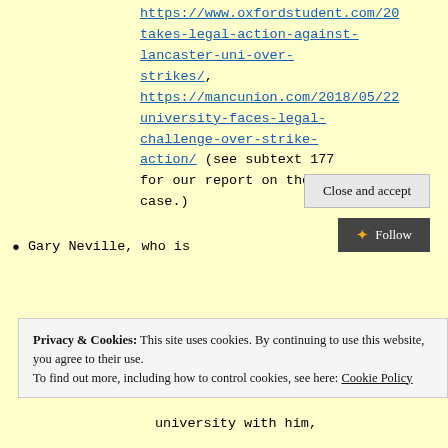https://www.oxfordstudent.com/20... takes-legal-action-against-lancaster-uni-over-strikes/, https://mancunion.com/2018/05/22... university-faces-legal-challenge-over-strike-action/ (see subtext 177 for our report on the case.)
Gary Neville, who is ... university with him,
Privacy & Cookies: This site uses cookies. By continuing to use this website, you agree to their use. To find out more, including how to control cookies, see here: Cookie Policy